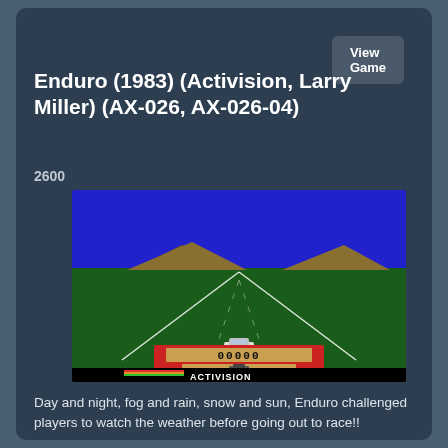Enduro (1983) (Activision, Larry Miller) (AX-026, AX-026-04)
2600
[Figure (screenshot): Screenshot of Enduro Atari 2600 game showing a racing road perspective view with green landscape, blue sky, hills in background, a white race car at center bottom, a red scoreboard showing 00000, and Activision logo at bottom.]
Day and night, fog and rain, snow and sun, Enduro challenged players to watch the weather before going out to race!!